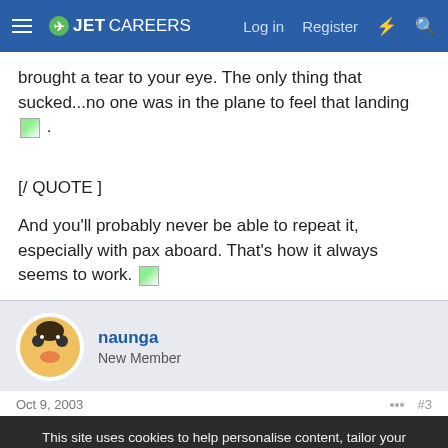JetCareers — Log in | Register
brought a tear to your eye. The only thing that sucked...no one was in the plane to feel that landing 😄 .
[/ QUOTE ]
And you'll probably never be able to repeat it, especially with pax aboard. That's how it always seems to work. 😄
naunga
New Member
Oct 9, 2003  #3
This site uses cookies to help personalise content, tailor your experience and to keep you logged in if you register.
By continuing to use this site, you are consenting to our use of cookies.